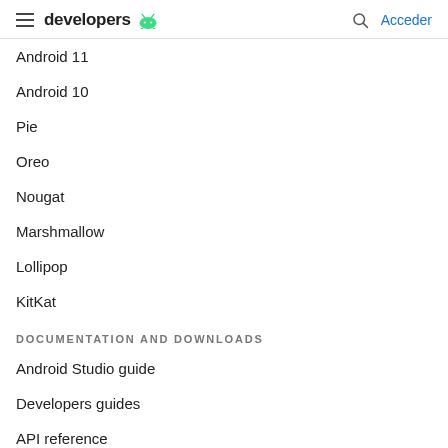developers — Acceder
Android 11
Android 10
Pie
Oreo
Nougat
Marshmallow
Lollipop
KitKat
DOCUMENTATION AND DOWNLOADS
Android Studio guide
Developers guides
API reference